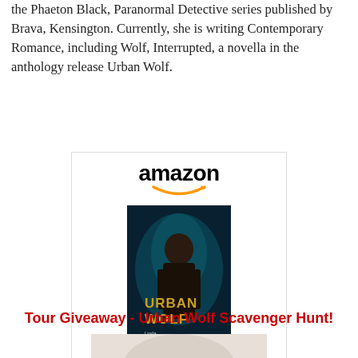the Phaeton Black, Paranormal Detective series published by Brava, Kensington. Currently, she is writing Contemporary Romance, including Wolf, Interrupted, a novella in the anthology release Urban Wolf.
[Figure (other): Amazon product widget for the book 'Urban Wolf' showing the Amazon logo with smile, a book cover image of Urban Wolf (teal/dark cover with a man), the title 'Urban Wolf' in blue link text, price '$3.99', and a 'Shop now' button with Amazon 'a' icon on gold/yellow background.]
Tour Giveaway - Urban Wolf Scavenger Hunt!
[Figure (photo): Partial bottom image, appears to be a circular or rounded object, partially visible at the very bottom of the page.]